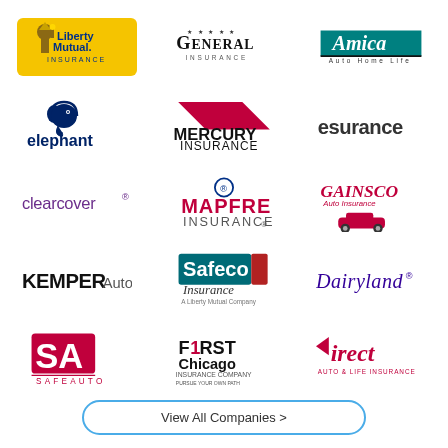[Figure (logo): Liberty Mutual Insurance logo - yellow/gold background with Statue of Liberty icon]
[Figure (logo): General Insurance logo - black text on white]
[Figure (logo): Amica Auto Home Life logo - green bar with white text]
[Figure (logo): Elephant Insurance logo - dark blue elephant icon and text]
[Figure (logo): Mercury Insurance logo - red diagonal stripe with black text]
[Figure (logo): Esurance logo - dark gray lowercase text]
[Figure (logo): Clearcover logo - purple lowercase text]
[Figure (logo): MAPFRE Insurance logo - red text with blue circle icon]
[Figure (logo): GAINSCO Auto Insurance logo - red script with red car]
[Figure (logo): KEMPER Auto logo - black bold text]
[Figure (logo): Safeco Insurance A Liberty Mutual Company logo - teal/blue square with white text]
[Figure (logo): Dairyland logo - dark purple italic script]
[Figure (logo): SafeAuto logo - red SA letters with SAFEAUTO text]
[Figure (logo): First Chicago Insurance Company logo - black and red text]
[Figure (logo): Direct Auto and Life Insurance logo - red text with arrow]
View All Companies >